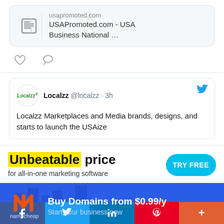[Figure (screenshot): USAPromoted.com card with newspaper icon showing 'usapromoted.com' and 'USAPromoted.com - USA Business National ...' text]
usapromoted.com
USAPromoted.com - USA Business National ...
[Figure (screenshot): Comment and heart/like icons row]
[Figure (screenshot): Localzz tweet card: Localzz @localzz · 3h — Localzz Marketplaces and Media brands, designs, and starts to launch the USAize]
Localzz @localzz · 3h
Localzz Marketplaces and Media brands, designs, and starts to launch the USAize
[Figure (infographic): Unbeatable price ad banner with yellow highlight on 'Unbeatable', cyan 'TRY FREE' button, subtitle: for all-in-one marketing software]
[Figure (infographic): Namecheap ad banner: Buy Domains from $0.99/y, Start your business now]
[Figure (infographic): Social share bar with Facebook, Twitter, LinkedIn, Pinterest, More buttons]